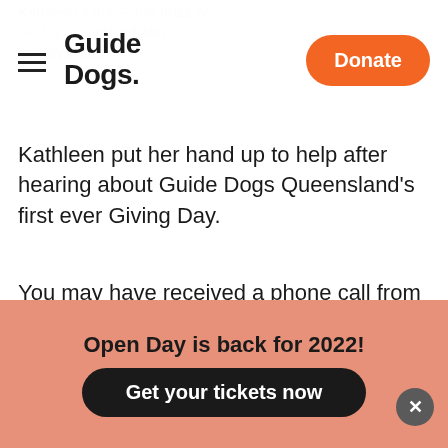Guide Dogs. [Navigation bar with hamburger menu and Donate button]
Kathleen put her hand up to help after hearing about Guide Dogs Queensland's first ever Giving Day.
You may have received a phone call from Kathleen, her colleague Jules, or one of the 120 volunteers and staff who jumped on the phones and reached out to you, our wonderful community, asking for your support.
Open Day is back for 2022!
Get your tickets now